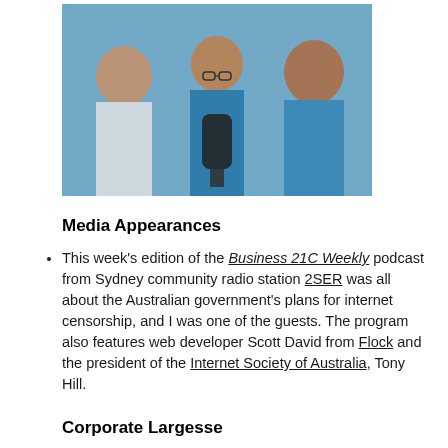[Figure (photo): Three men posing together, one holding a microphone, in a studio-like setting with blue/teal tones.]
Media Appearances
This week's edition of the Business 21C Weekly podcast from Sydney community radio station 2SER was all about the Australian government's plans for internet censorship, and I was one of the guests. The program also features web developer Scott David from Flock and the president of the Internet Society of Australia, Tony Hill.
Corporate Largesse